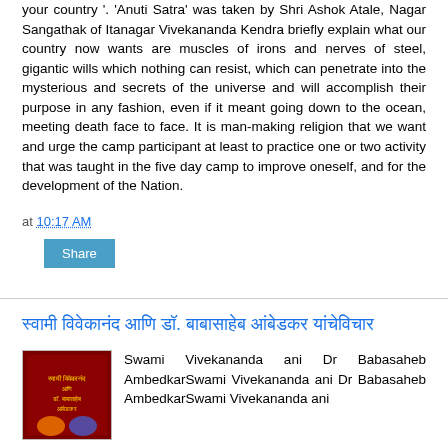your country'. 'Anuti Satra' was taken by Shri Ashok Atale, Nagar Sangathak of Itanagar Vivekananda Kendra briefly explain what our country now wants are muscles of irons and nerves of steel, gigantic wills which nothing can resist, which can penetrate into the mysterious and secrets of the universe and will accomplish their purpose in any fashion, even if it meant going down to the ocean, meeting death face to face. It is man-making religion that we want and urge the camp participant at least to practice one or two activity that was taught in the five day camp to improve oneself, and for the development of the Nation.
at 10:17 AM
Share
स्वामी विवेकानंद आणि डॉ. बाबासाहेब आंबेडकर यांचेविचार
Swami Vivekananda ani Dr Babasaheb AmbedkarSwami Vivekananda ani Dr Babasaheb AmbedkarSwami Vivekananda ani